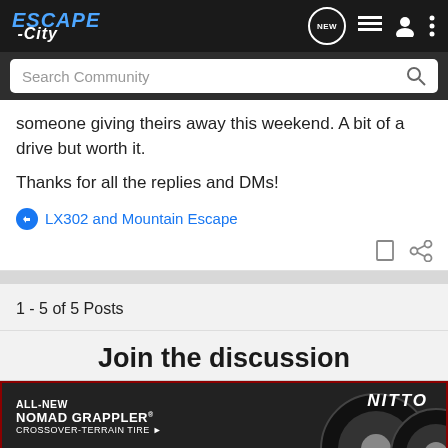ESCAPE-City
someone giving theirs away this weekend. A bit of a drive but worth it.
Thanks for all the replies and DMs!
LX302 and Mountain Escape
1 - 5 of 5 Posts
Join the discussion
[Figure (photo): Nitto All-New Nomad Grappler Crossover-Terrain Tire advertisement banner with tire image]